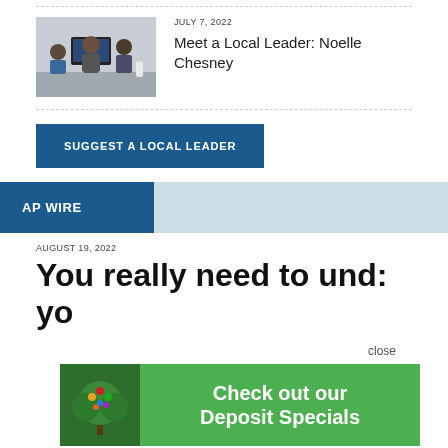[Figure (photo): Three people sitting at computers in an office environment]
JULY 7, 2022
Meet a Local Leader: Noelle Chesney
SUGGEST A LOCAL LEADER
AP WIRE
AUGUST 19, 2022
You really need to und: yo
close
[Figure (illustration): Tree logo with colorful fruits/leaves — Check out our Deposit Specials advertisement]